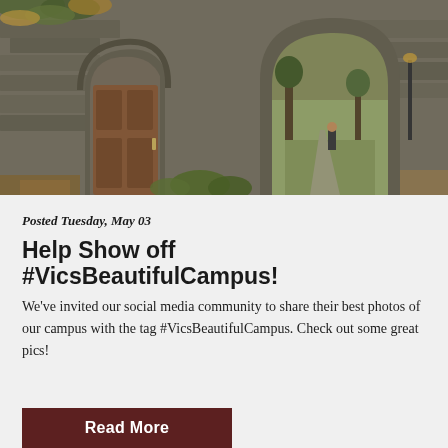[Figure (photo): Gothic stone building with arched doorway and wooden door on the left, and a large stone archway/gate on the right with a pathway leading through it, surrounded by autumn foliage and trees.]
Posted Tuesday, May 03
Help Show off #VicsBeautifulCampus!
We've invited our social media community to share their best photos of our campus with the tag #VicsBeautifulCampus. Check out some great pics!
Read More